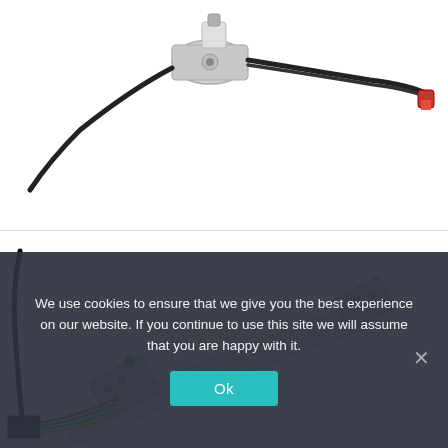[Figure (photo): Automotive window regulator motor with wiring harness and red connector on white background]
[Figure (photo): Automotive window regulator rail/track assembly with mounting brackets and wiring harness on white background]
We use cookies to ensure that we give you the best experience on our website. If you continue to use this site we will assume that you are happy with it.
Ok